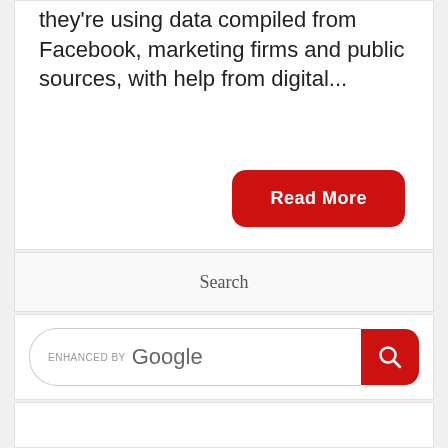they're using data compiled from Facebook, marketing firms and public sources, with help from digital...
Read More
Search
[Figure (screenshot): Google enhanced search bar with red search button]